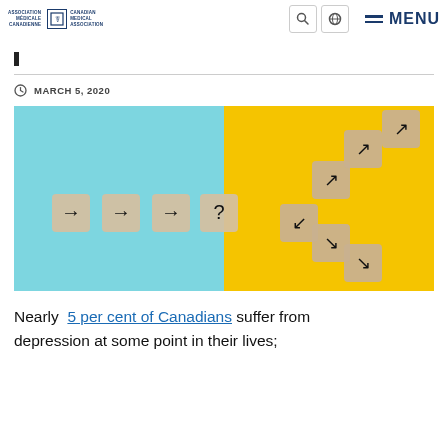Canadian Medical Association — MENU
MARCH 5, 2020
[Figure (photo): Wooden blocks on a split blue and yellow background, each showing arrow symbols (right arrows, a question mark, upward diagonal arrows, and downward diagonal arrows) arranged in a staircase pattern suggesting choices or direction.]
Nearly 5 per cent of Canadians suffer from depression at some point in their lives;